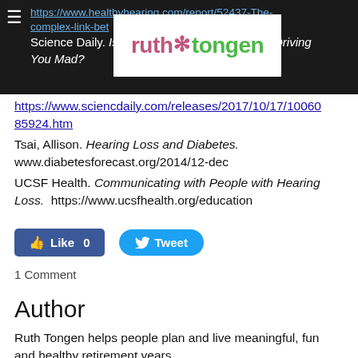https://www.healthyhearing.com/report/52437-The-complex-link-bet...g-loss  Science Daily. Is Your Partner's Hearing Loss Driving You Mad?
[Figure (logo): Ruth Tongen logo with stylized asterisk/snowflake icon between 'ruth' in pink and 'tongen' in green]
https://www.sciencdaily.com/releases/2017/10/17/100685924.htm
Tsai, Allison. Hearing Loss and Diabetes. www.diabetesforecast.org/2014/12-dec
UCSF Health. Communicating with People with Hearing Loss. https://www.ucsfhealth.org/education
Like 0  Tweet
1 Comment
Author
Ruth Tongen helps people plan and live meaningful, fun and healthy retirement years.